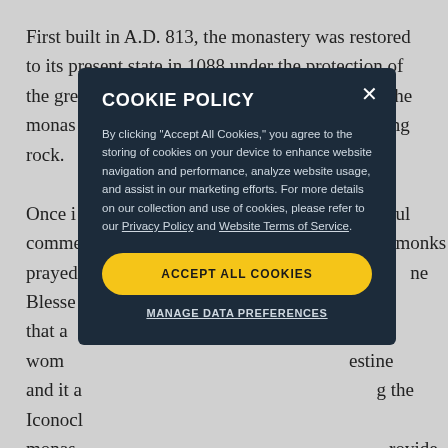First built in A.D. 813, the monastery was restored to its present state in 1088 under the protection of the great Byzant… the monas… ing rock.
Once i… helpful comme… monks prayed… ne Blesse… id that a wom… estine and it a… g the Iconocl… monas… rovide
…ur trek to the monastery we had free time in the beautiful unspoiled Chora. Here, the brilliant white alleys
[Figure (screenshot): Cookie policy modal overlay on top of article text. Dark navy background modal with title 'COOKIE POLICY', body text about cookie usage, links to Privacy Policy and Website Terms of Service, an 'ACCEPT ALL COOKIES' yellow button, and a 'MANAGE DATA PREFERENCES' text link. Close X button in top right corner.]